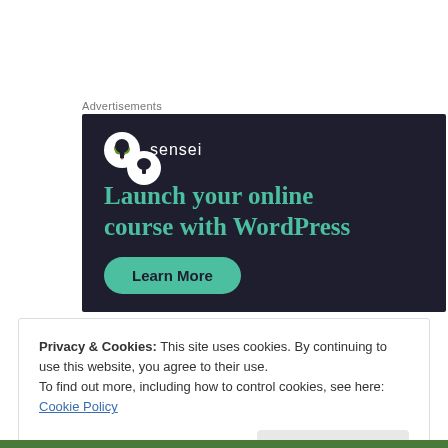Advertisements
[Figure (illustration): Sensei advertisement banner with dark navy background. Shows the Sensei logo (tree icon in white circle) and the text 'Launch your online course with WordPress' in teal, with a 'Learn More' teal button.]
Privacy & Cookies: This site uses cookies. By continuing to use this website, you agree to their use.
To find out more, including how to control cookies, see here: Cookie Policy
Close and accept